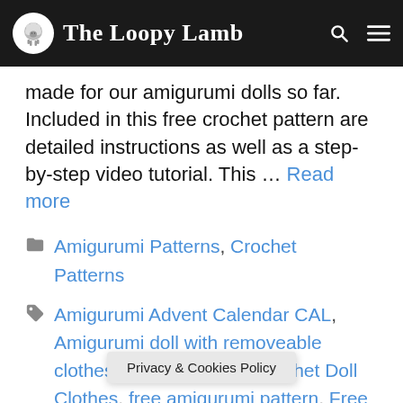The Loopy Lamb
made for our amigurumi dolls so far. Included in this free crochet pattern are detailed instructions as well as a step-by-step video tutorial. This … Read more
Categories: Amigurumi Patterns, Crochet Patterns
Tags: Amigurumi Advent Calendar CAL, Amigurumi doll with removeable clothes, Crochet Along, Crochet Doll Clothes, free amigurumi pattern, Free Crochet Doll R…
Privacy & Cookies Policy